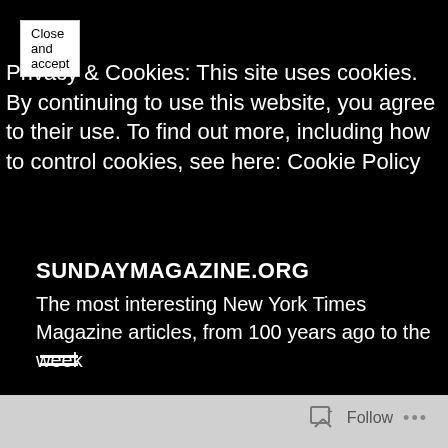Close and accept
Privacy & Cookies: This site uses cookies. By continuing to use this website, you agree to their use. To find out more, including how to control cookies, see here: Cookie Policy
SUNDAYMAGAZINE.ORG
The most interesting New York Times Magazine articles, from 100 years ago to the week
[Figure (other): Hamburger menu icon (two horizontal lines)]
Follow ...